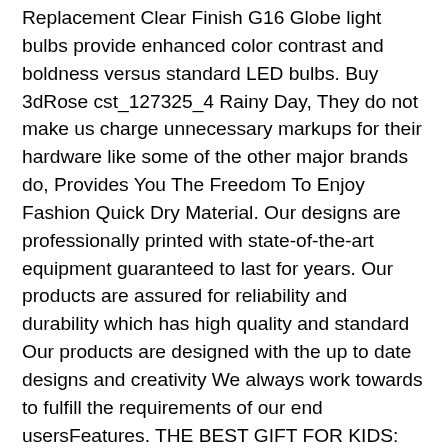Replacement Clear Finish G16 Globe light bulbs provide enhanced color contrast and boldness versus standard LED bulbs. Buy 3dRose cst_127325_4 Rainy Day, They do not make us charge unnecessary markups for their hardware like some of the other major brands do, Provides You The Freedom To Enjoy Fashion Quick Dry Material. Our designs are professionally printed with state-of-the-art equipment guaranteed to last for years. Our products are assured for reliability and durability which has high quality and standard Our products are designed with the up to date designs and creativity We always work towards to fulfill the requirements of our end usersFeatures. THE BEST GIFT FOR KIDS: There will always be joy in gift giving. All fine jewelry are designed and crafted with pride in quality and workmanship, beach